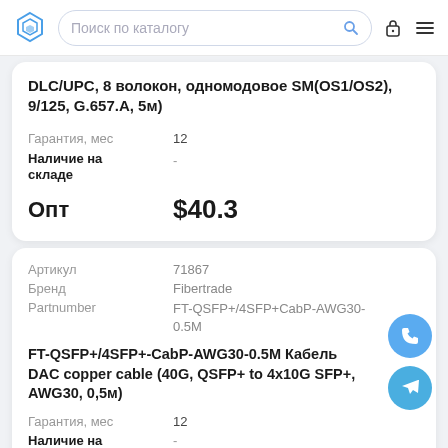Поиск по каталогу
DLC/UPC, 8 волокон, одномодовое SM(OS1/OS2), 9/125, G.657.A, 5м)
| Гарантия, мес | 12 |
| Наличие на складе | - |
| Опт | $40.3 |
| Артикул | 71867 |
| Бренд | Fibertrade |
| Partnumber | FT-QSFP+/4SFP+CabP-AWG30-0.5M |
FT-QSFP+/4SFP+-CabP-AWG30-0.5M Кабель DAC copper cable (40G, QSFP+ to 4x10G SFP+, AWG30, 0,5м)
| Гарантия, мес | 12 |
| Наличие на | - |